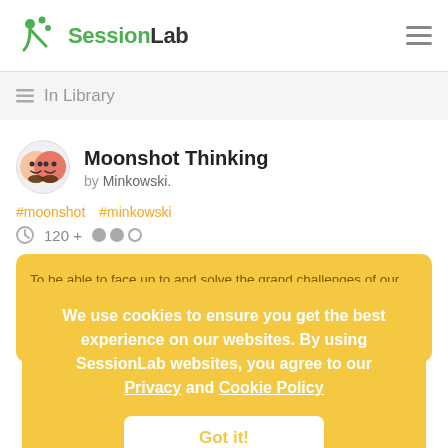SessionLab
In Library
Moonshot Thinking
by Minkowski.
#moonshot  #minkowski
120 +
To be able to face up to and solve the grand challenges of our time, we need to be audacious in our approach and aspiration.
We use cookies to ensure you get the best experience on our websites. By using SessionLab websites, you agree to our Privacy and Cookie Policy
Got it!